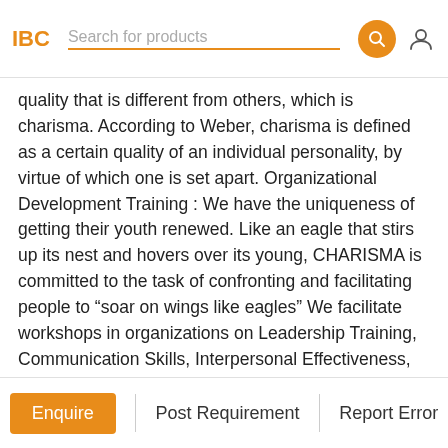IBC  Search for products
quality that is different from others, which is charisma. According to Weber, charisma is defined as a certain quality of an individual personality, by virtue of which one is set apart. Organizational Development Training : We have the uniqueness of getting their youth renewed. Like an eagle that stirs up its nest and hovers over its young, CHARISMA is committed to the task of confronting and facilitating people to “soar on wings like eagles” We facilitate workshops in organizations on Leadership Training, Communication Skills, Interpersonal Effectiveness, Creativity and Problem Solving, Team Building, Personal Empowerment, and Training of Trainers for TQM and Quality Customer Service. Real Estate: We help you find the best ‘home’ of your choice in Dubai property. We focus our attention on people rather than spending our energy having the world know who we are. Charisma realizes that it goes beyond buying or selling of a
Enquire  Post Requirement  Report Error